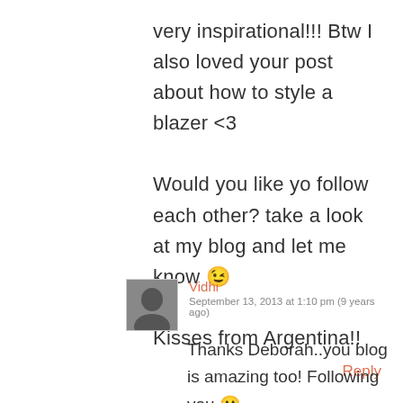very inspirational!!! Btw I also loved your post about how to style a blazer <3
Would you like yo follow each other? take a look at my blog and let me know 😉
Kisses from Argentina!!
Reply
Vidhi
September 13, 2013 at 1:10 pm (9 years ago)
Thanks Deborah..you blog is amazing too! Following you 🙂